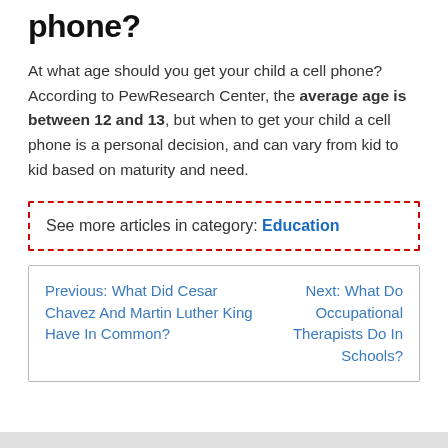phone?
At what age should you get your child a cell phone? According to PewResearch Center, the average age is between 12 and 13, but when to get your child a cell phone is a personal decision, and can vary from kid to kid based on maturity and need.
See more articles in category: Education
Previous: What Did Cesar Chavez And Martin Luther King Have In Common?
Next: What Do Occupational Therapists Do In Schools?